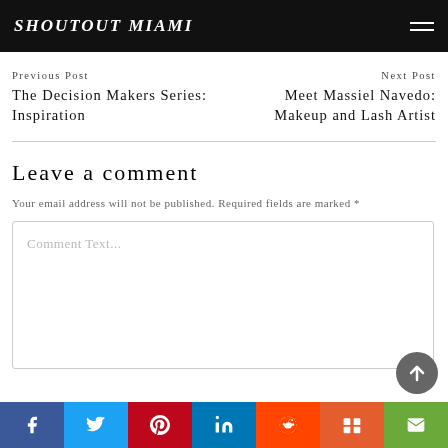SHOUTOUT MIAMI
Previous Post
The Decision Makers Series: Inspiration
Next Post
Meet Massiel Navedo: Makeup and Lash Artist
Leave a comment
Your email address will not be published. Required fields are marked *
Comment Text...